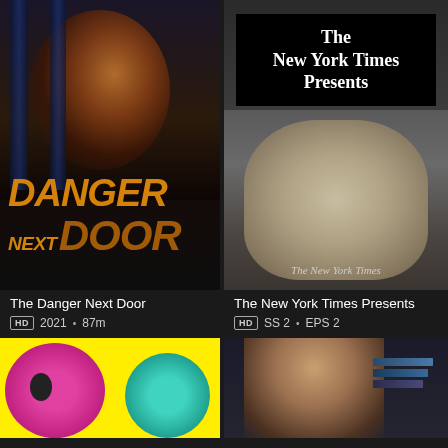[Figure (photo): Movie poster for The Danger Next Door showing a woman's face behind bars with orange text title]
[Figure (photo): TV show poster for The New York Times Presents showing gloved hands with NYT title box]
The Danger Next Door
HD  2021  •  87m
The New York Times Presents
HD  SS 2  •  EPS 2
[Figure (illustration): Colorful cartoon characters on yellow background]
[Figure (photo): Man's face with screens in background]